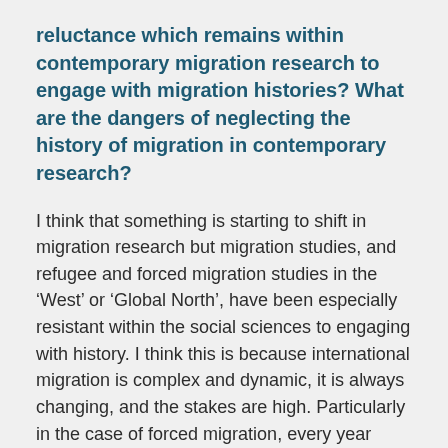reluctance which remains within contemporary migration research to engage with migration histories? What are the dangers of neglecting the history of migration in contemporary research?
I think that something is starting to shift in migration research but migration studies, and refugee and forced migration studies in the ‘West’ or ‘Global North’, have been especially resistant within the social sciences to engaging with history. I think this is because international migration is complex and dynamic, it is always changing, and the stakes are high. Particularly in the case of forced migration, every year brings new migrations and crises, and so to engage with history can feel like you are taking your eye off